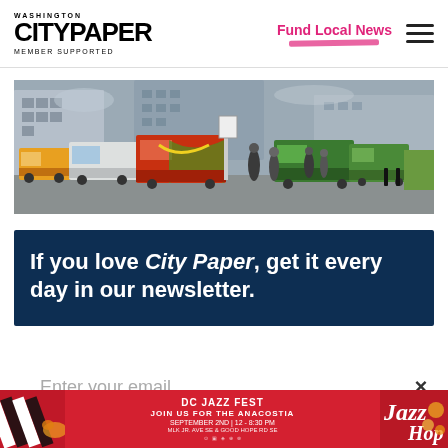WASHINGTON CITY PAPER MEMBER SUPPORTED | Fund Local News
[Figure (photo): Panoramic street-level photo of food trucks lined up on a city street in Washington DC, with pedestrians and tall buildings in the background]
If you love City Paper, get it every day in our newsletter.
Enter your email
[Figure (infographic): DC Jazz Fest advertisement banner: JOIN US FOR THE ANACOSTIA, SEPTEMBER 2ND | 12-8:30 PM, MLK JR. AVE SE & GOOD HOPE RD SE]